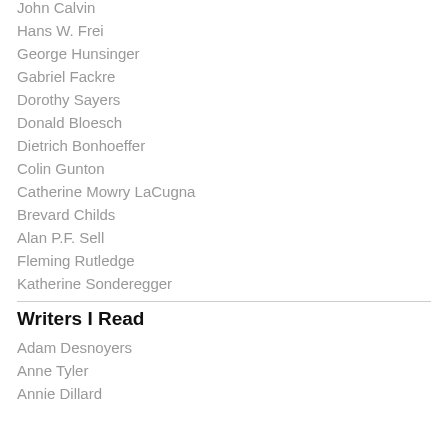John Calvin
Hans W. Frei
George Hunsinger
Gabriel Fackre
Dorothy Sayers
Donald Bloesch
Dietrich Bonhoeffer
Colin Gunton
Catherine Mowry LaCugna
Brevard Childs
Alan P.F. Sell
Fleming Rutledge
Katherine Sonderegger
Writers I Read
Adam Desnoyers
Anne Tyler
Annie Dillard